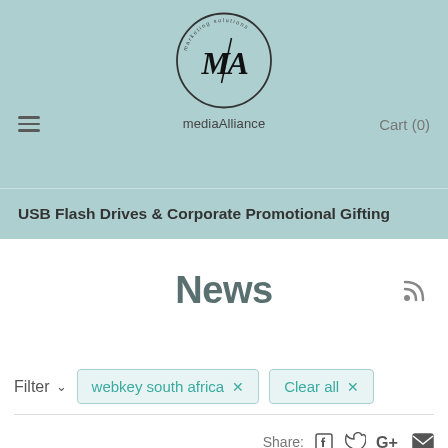[Figure (logo): mediaAlliance logo: circular emblem with stylized M/A letterform and text 'mediaAlliance' below]
Cart (0)
USB Flash Drives & Corporate Promotional Gifting
News
Filter  webkey south africa ×  Clear all ×
Share: